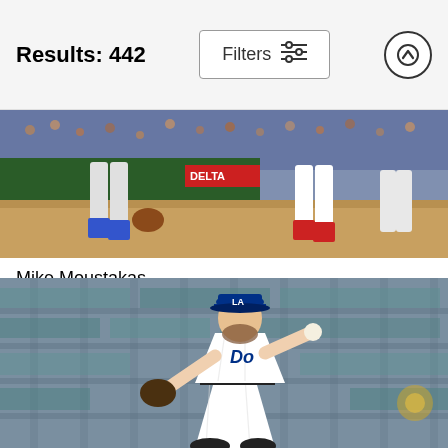Results: 442
[Figure (photo): Baseball players at a field, showing lower bodies and legs, with a green wall and Delta signage in background. Dirt infield visible.]
Mike Moustakas
Hannah Foslien
$9.62
[Figure (photo): Los Angeles Dodgers pitcher in white uniform and blue cap winding up to throw a pitch, stadium seating visible in background.]